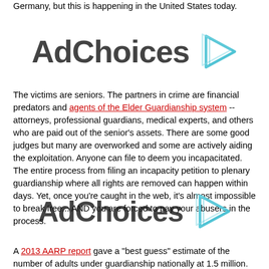Germany, but this is happening in the United States today.
[Figure (logo): AdChoices logo with pixelated text and blue play-button style icon]
The victims are seniors. The partners in crime are financial predators and agents of the Elder Guardianship system -- attorneys, professional guardians, medical experts, and others who are paid out of the senior's assets. There are some good judges but many are overworked and some are actively aiding the exploitation. Anyone can file to deem you incapacitated. The entire process from filing an incapacity petition to plenary guardianship where all rights are removed can happen within days. Yet, once you're caught in the web, it's almost impossible to break free... AND you are forced to pay your abusers in the process.
[Figure (logo): AdChoices logo with pixelated text and blue play-button style icon]
A 2013 AARP report gave a "best guess" estimate of the number of adults under guardianship nationally at 1.5 million. Idaho and Minnesota are the only states that track the amount of money being controlled by